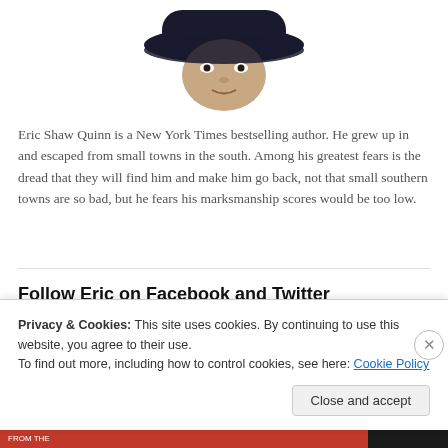[Figure (photo): Black and white photo of a person wearing a dark wide-brim hat, face partially visible, cropped at top of page]
Eric Shaw Quinn is a New York Times bestselling author. He grew up in and escaped from small towns in the south. Among his greatest fears is the dread that they will find him and make him go back, not that small southern towns are so bad, but he fears his marksmanship scores would be too low.
Follow Eric on Facebook and Twitter
Privacy & Cookies: This site uses cookies. By continuing to use this website, you agree to their use.
To find out more, including how to control cookies, see here: Cookie Policy